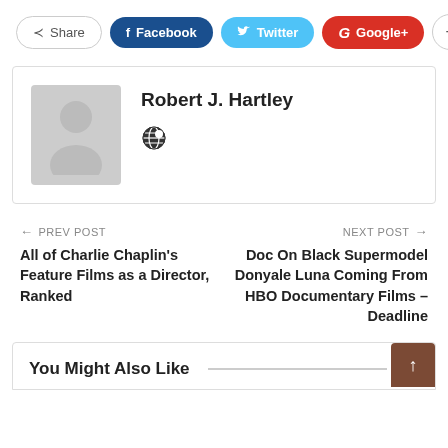[Figure (screenshot): Social share buttons: Share, Facebook, Twitter, Google+, plus button]
[Figure (illustration): Author box with avatar placeholder and name Robert J. Hartley with globe icon]
Robert J. Hartley
← PREV POST
All of Charlie Chaplin's Feature Films as a Director, Ranked
NEXT POST →
Doc On Black Supermodel Donyale Luna Coming From HBO Documentary Films – Deadline
You Might Also Like